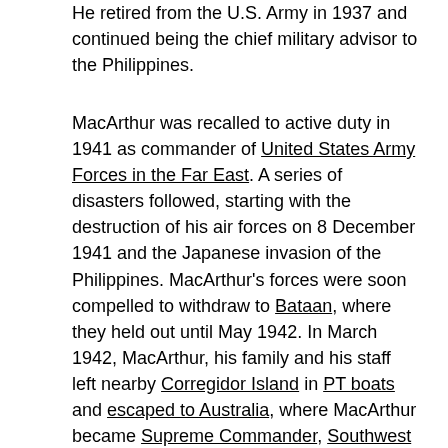He retired from the U.S. Army in 1937 and continued being the chief military advisor to the Philippines.
MacArthur was recalled to active duty in 1941 as commander of United States Army Forces in the Far East. A series of disasters followed, starting with the destruction of his air forces on 8 December 1941 and the Japanese invasion of the Philippines. MacArthur's forces were soon compelled to withdraw to Bataan, where they held out until May 1942. In March 1942, MacArthur, his family and his staff left nearby Corregidor Island in PT boats and escaped to Australia, where MacArthur became Supreme Commander, Southwest Pacific Area. Upon his arrival, MacArthur gave a speech in which he promised “I shall return” to the Philippines. After more than two years of fighting, he fulfilled that promise. For his defense of the Philippines, MacArthur was awarded the Medal of Honor. He officially accepted the surrender of Japan on 2 September 1945 aboard the USS Missouri, which was anchored in Tokyo Bay, and he oversaw the occupation of Japan from 1945 to 1951. As the